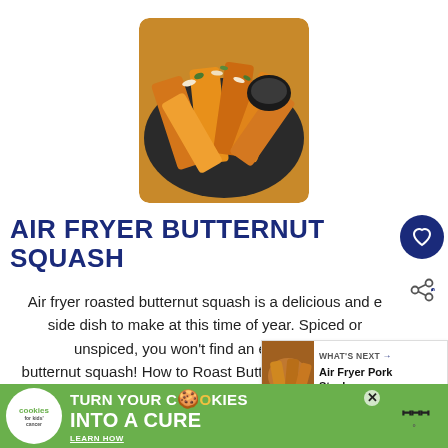[Figure (photo): Photo of air fryer butternut squash pieces on a dark plate, garnished with herbs and sliced almonds, with a small dipping sauce bowl]
AIR FRYER BUTTERNUT SQUASH
Air fryer roasted butternut squash is a delicious and easy side dish to make at this time of year. Spiced or unspiced, you won't find an easier recipe for butternut squash! How to Roast Butternut Squash in an Air Fryer I love the aroma of butternut squash roasting in
[Figure (infographic): WHAT'S NEXT → Air Fryer Pork Steaks promotional widget with thumbnail image]
[Figure (infographic): Advertisement banner: cookies for kids cancer - turn your COOKIES into a CURE LEARN HOW]